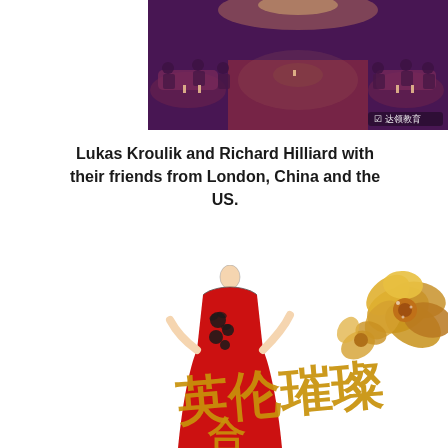[Figure (photo): A banquet or dinner party scene in an ornate room with purple lighting, people seated at round tables. A watermark in the bottom right reads: WeChat logo and Chinese text '达领教育'.]
Lukas Kroulik and Richard Hilliard with their friends from London, China and the US.
[Figure (illustration): An illustration of a woman in a red strapless gown with black floral embellishments, arms raised. To the right is a golden flower/peony decoration. Large gold Chinese calligraphy characters appear across the bottom of the image.]